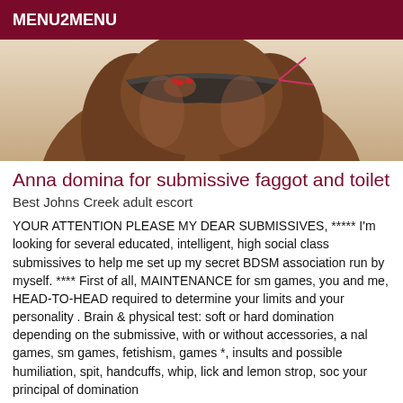MENU2MENU
[Figure (photo): Cropped photo of a woman's lower body in a bikini bottom, close-up shot from behind/side]
Anna domina for submissive faggot and toilet
Best Johns Creek adult escort
YOUR ATTENTION PLEASE MY DEAR SUBMISSIVES, ***** I'm looking for several educated, intelligent, high social class submissives to help me set up my secret BDSM association run by myself. **** First of all, MAINTENANCE for sm games, you and me, HEAD-TO-HEAD required to determine your limits and your personality . Brain & physical test: soft or hard domination depending on the submissive, with or without accessories, a nal games, sm games, fetishism, games *, insults and possible humiliation, spit, handcuffs, whip, lick and lemon strop, soc your principal of domination